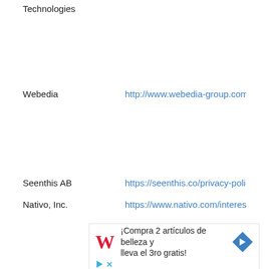Technologies
| Company | URL |
| --- | --- |
| Webedia | http://www.webedia-group.com/site/p |
| Seenthis AB | https://seenthis.co/privacy-policy/ |
| Nativo, Inc. | https://www.nativo.com/interest-base |
[Figure (screenshot): Advertisement banner for Walgreens: Walgreens W logo in red cursive, text '¡Compra 2 artículos de belleza y lleva el 3ro gratis!' with a blue diamond arrow icon, and ad indicator icons below.]